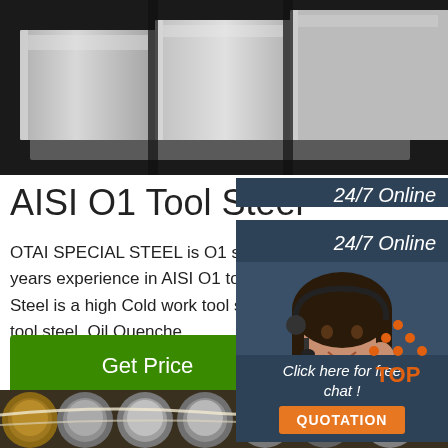[Figure (photo): Stacked steel plates/flat bars photographed from above, showing metallic surfaces on dark background]
AISI O1 Tool Steel
OTAI SPECIAL STEEL is O1 steel stock and suppliers from china. more 16 years experience in AISI O1 tool steel round bar and plate supply. AISI O1 Steel is a high Cold work tool steel, It belong to the high high carbon alloy tool steel. Oil Quenche
[Figure (photo): Customer service representative woman wearing headset, smiling, with 24/7 Online label and dark blue background panel]
24/7 Online
Click here for free chat !
QUOTATION
Get Price
[Figure (logo): TOP logo with orange dots arranged in triangle/diamond shape above orange text TOP]
[Figure (photo): Steel round bars stacked horizontally in industrial setting]